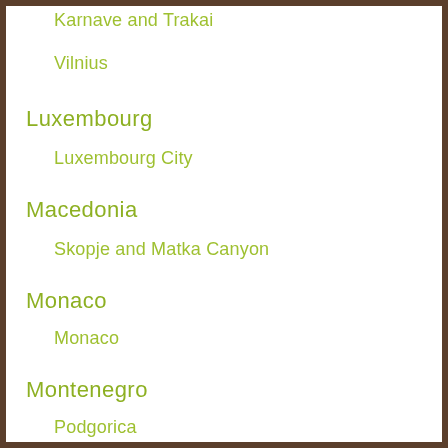Karnave and Trakai
Vilnius
Luxembourg
Luxembourg City
Macedonia
Skopje and Matka Canyon
Monaco
Monaco
Montenegro
Podgorica
Northern Ireland
Belfast